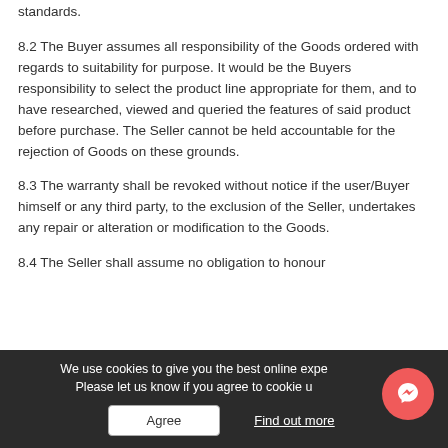standards.
8.2 The Buyer assumes all responsibility of the Goods ordered with regards to suitability for purpose. It would be the Buyers responsibility to select the product line appropriate for them, and to have researched, viewed and queried the features of said product before purchase. The Seller cannot be held accountable for the rejection of Goods on these grounds.
8.3 The warranty shall be revoked without notice if the user/Buyer himself or any third party, to the exclusion of the Seller, undertakes any repair or alteration or modification to the Goods.
8.4 The Seller shall assume no obligation to honour
We use cookies to give you the best online expe... Please let us know if you agree to cookie u...